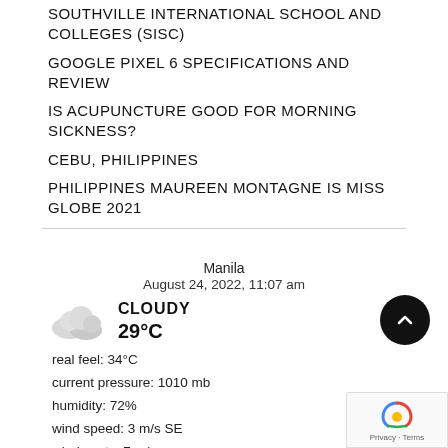Southville International School and Colleges (SISC)
GOOGLE PIXEL 6 SPECIFICATIONS AND REVIEW
IS ACUPUNCTURE GOOD FOR MORNING SICKNESS?
CEBU, PHILIPPINES
PHILIPPINES MAUREEN MONTAGNE IS MISS GLOBE 2021
Manila
August 24, 2022, 11:07 am
Cloudy
29°C
real feel: 34°C
current pressure: 1010 mb
humidity: 72%
wind speed: 3 m/s SE
wind gusts: 7 m/s